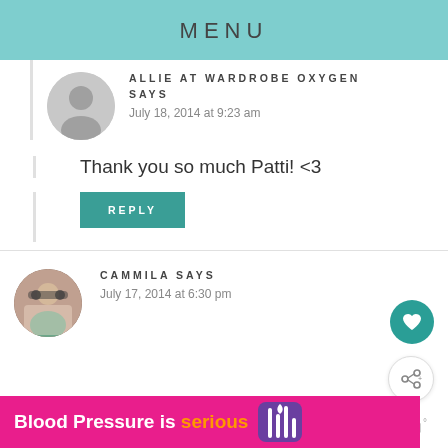MENU
ALLIE AT WARDROBE OXYGEN SAYS
July 18, 2014 at 9:23 am
Thank you so much Patti! <3
REPLY
CAMMILA SAYS
July 17, 2014 at 6:30 pm
[Figure (infographic): Advertisement banner: 'Blood Pressure is serious' with pink background and purple heart icon]